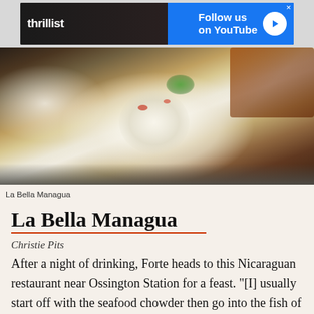[Figure (screenshot): Thrillist advertisement banner with 'Follow us on YouTube' call to action]
[Figure (photo): Food photo showing plates of Nicaraguan food at La Bella Managua restaurant, including coleslaw salad, meat, and sides on white plates against a steel surface]
La Bella Managua
La Bella Managua
Christie Pits
After a night of drinking, Forte heads to this Nicaraguan restaurant near Ossington Station for a feast. "[I] usually start off with the seafood chowder then go into the fish of the day (snapper or sea bass)